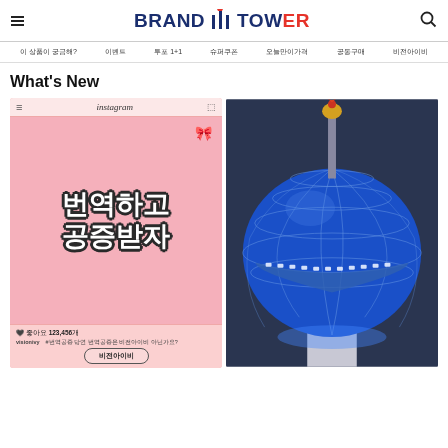BRAND TOWER
이 상품이 궁금해? | 이벤트 | 투포 1+1 | 슈퍼쿠폰 | 오늘만이가격 | 공동구매 | 비전아이비
What's New
[Figure (screenshot): Instagram post screenshot with Korean text '번역하고 공증받자' on pink background, with likes count 123,456 and button 비전아이비]
[Figure (photo): Upward view of N Seoul Tower illuminated in blue at night with golden rooster on top]